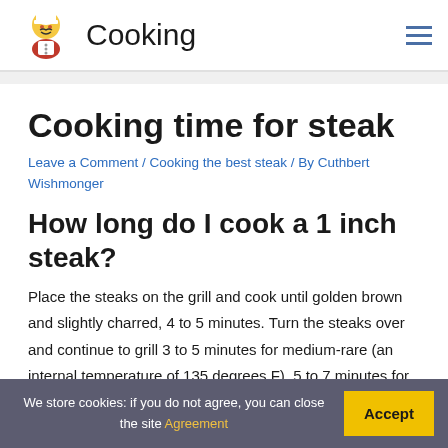Cooking
Cooking time for steak
Leave a Comment / Cooking the best steak / By Cuthbert Wishmonger
How long do I cook a 1 inch steak?
Place the steaks on the grill and cook until golden brown and slightly charred, 4 to 5 minutes. Turn the steaks over and continue to grill 3 to 5 minutes for medium-rare (an internal temperature of 135 degrees F), 5 to 7 minutes for medium (140 degrees F) or 8 to
We store cookies: if you do not agree, you can close the site Agreement